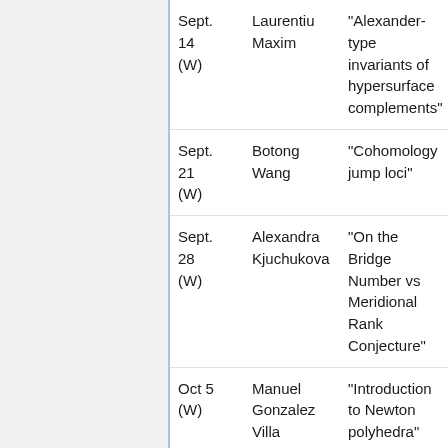| Date | Speaker | Title |
| --- | --- | --- |
| Sept. 14 (W) | Laurentiu Maxim | "Alexander-type invariants of hypersurface complements" |
| Sept. 21 (W) | Botong Wang | "Cohomology jump loci" |
| Sept. 28 (W) | Alexandra Kjuchukova | "On the Bridge Number vs Meridional Rank Conjecture" |
| Oct 5 (W) | Manuel Gonzalez Villa | "Introduction to Newton polyhedra" |
| Oct 12 (W) | Manuel Gonzalez Villa | "More on Newton polyhedra" |